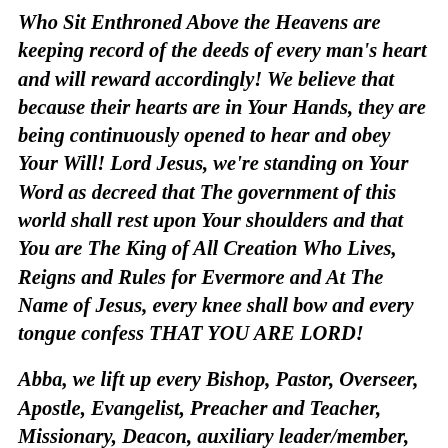Who Sit Enthroned Above the Heavens are keeping record of the deeds of every man's heart and will reward accordingly! We believe that because their hearts are in Your Hands, they are being continuously opened to hear and obey Your Will! Lord Jesus, we're standing on Your Word as decreed that The government of this world shall rest upon Your shoulders and that You are The King of All Creation Who Lives, Reigns and Rules for Evermore and At The Name of Jesus, every knee shall bow and every tongue confess THAT YOU ARE LORD!
Abba, we lift up every Bishop, Pastor, Overseer, Apostle, Evangelist, Preacher and Teacher, Missionary, Deacon, auxiliary leader/member, choir director/member, praise team and musician, usher, nurse, driver, parking